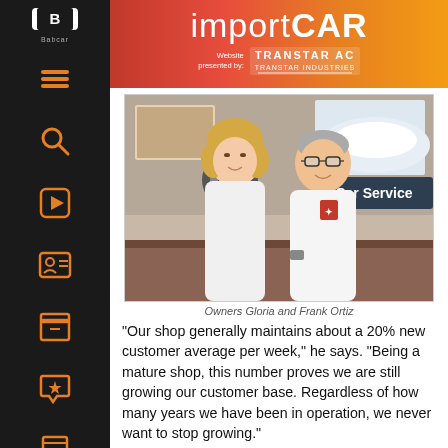importCAR
[Figure (photo): Two people, a woman (blonde) and a man with glasses, both wearing white shirts, standing together in an auto repair shop/car service center. A 'Car Service' sign is visible in the background along with car images on the wall.]
Owners Gloria and Frank Ortiz
“Our shop generally maintains about a 20% new customer average per week,” he says. “Being a mature shop, this number proves we are still growing our customer base. Regardless of how many years we have been in operation, we never want to stop growing.”